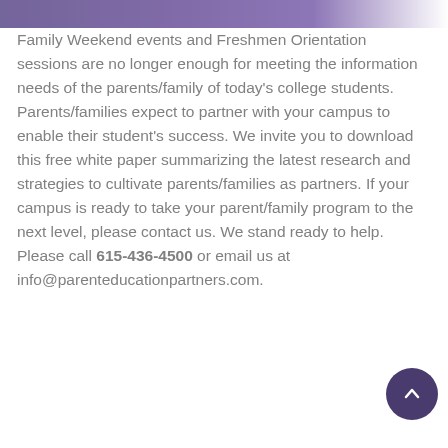[Figure (photo): Partial image of a person or scene visible at the top of the page, cropped]
Family Weekend events and Freshmen Orientation sessions are no longer enough for meeting the information needs of the parents/family of today's college students. Parents/families expect to partner with your campus to enable their student's success. We invite you to download this free white paper summarizing the latest research and strategies to cultivate parents/families as partners. If your campus is ready to take your parent/family program to the next level, please contact us. We stand ready to help. Please call 615-436-4500 or email us at info@parenteducationpartners.com.